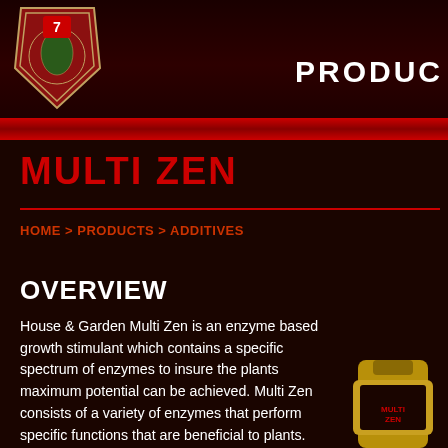[Figure (logo): House & Garden shield logo on dark red header background with PRODUC text partially visible on right]
MULTI ZEN
HOME > PRODUCTS > ADDITIVES
OVERVIEW
House & Garden Multi Zen is an enzyme based growth stimulant which contains a specific spectrum of enzymes to insure the plants maximum potential can be achieved. Multi Zen consists of a variety of enzymes that perform specific functions that are beneficial to plants. Some enzymes work to convert the plant's nutrients to enable greater overall nutrient uptake. Others strengthen the plant's immune system and aid in the disposal of residuals in the media.